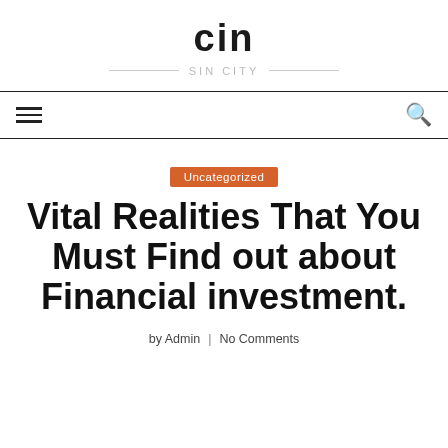cin
SIN CITY
Uncategorized
Vital Realities That You Must Find out about Financial investment.
by Admin | No Comments